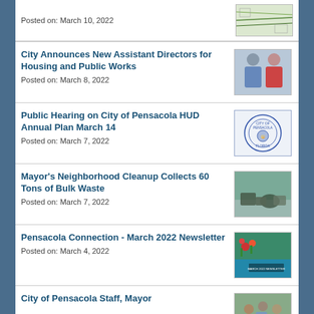Posted on: March 10, 2022
City Announces New Assistant Directors for Housing and Public Works
Posted on: March 8, 2022
Public Hearing on City of Pensacola HUD Annual Plan March 14
Posted on: March 7, 2022
Mayor's Neighborhood Cleanup Collects 60 Tons of Bulk Waste
Posted on: March 7, 2022
Pensacola Connection - March 2022 Newsletter
Posted on: March 4, 2022
City of Pensacola Staff, Mayor